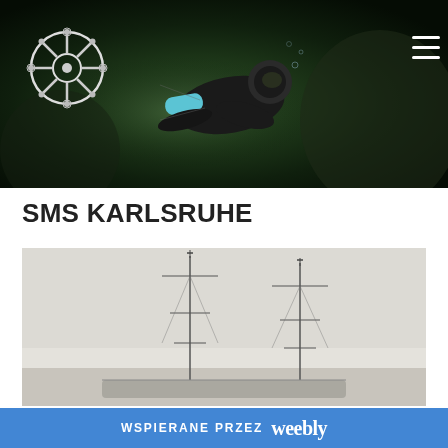[Figure (photo): Website header hero image showing a scuba diver underwater in dark greenish water, with a ship wheel logo in the top-left corner and a hamburger menu icon in the top-right corner.]
SMS KARLSRUHE
[Figure (photo): Historical photo of a ship (SMS Karlsruhe) showing masts and rigging against a light background.]
WSPIERANE PRZEZ weebly